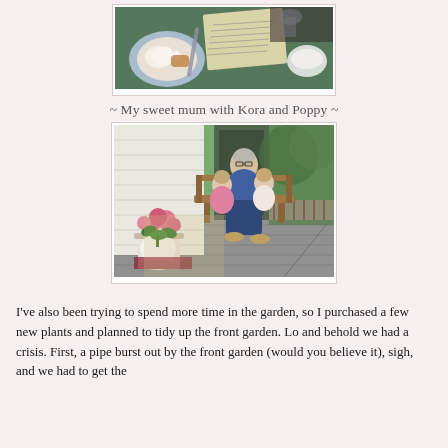[Figure (photo): A photo taken from above showing a table with plates of food, what appears to be dessert with whipped cream, and a handwritten recipe or menu on paper, along with a bowl and glassware.]
~ My sweet mum with Kora and Poppy ~
[Figure (photo): An older woman sitting on a wooden porch bench with two young children. There is a pot of pink flowers (geraniums) on a small table in front. The porch has a grey deck and green trees in the background.]
I've also been trying to spend more time in the garden, so I purchased a few new plants and planned to tidy up the front garden. Lo and behold we had a crisis. First, a pipe burst out by the front garden (would you believe it), sigh, and we had to get the